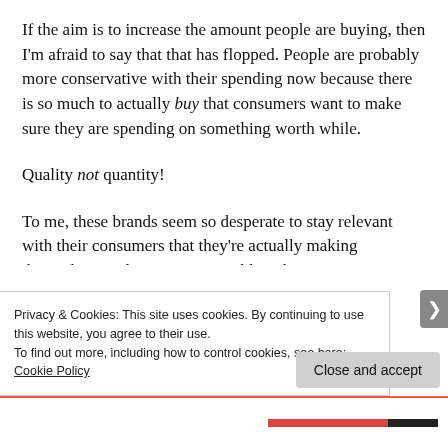If the aim is to increase the amount people are buying, then I'm afraid to say that that has flopped. People are probably more conservative with their spending now because there is so much to actually buy that consumers want to make sure they are spending on something worth while.
Quality not quantity!
To me, these brands seem so desperate to stay relevant with their consumers that they're actually making themselves irrelevant. It is possible to be a...
Privacy & Cookies: This site uses cookies. By continuing to use this website, you agree to their use.
To find out more, including how to control cookies, see here: Cookie Policy
Close and accept